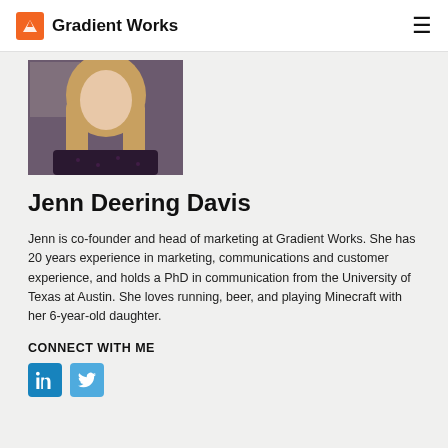Gradient Works
[Figure (photo): Photo of Jenn Deering Davis, a woman with long blonde hair wearing a dark floral dress, photographed indoors.]
Jenn Deering Davis
Jenn is co-founder and head of marketing at Gradient Works. She has 20 years experience in marketing, communications and customer experience, and holds a PhD in communication from the University of Texas at Austin. She loves running, beer, and playing Minecraft with her 6-year-old daughter.
CONNECT WITH ME
[Figure (logo): LinkedIn and Twitter social media icon buttons]